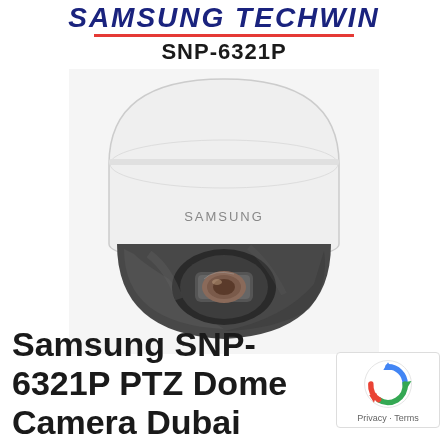SAMSUNG TECHWIN
SNP-6321P
[Figure (photo): Samsung SNP-6321P PTZ dome camera product photo, white dome housing with dark tinted dome cover and visible camera lens, 'SAMSUNG' branding on side]
Samsung SNP-6321P PTZ Dome Camera Dubai